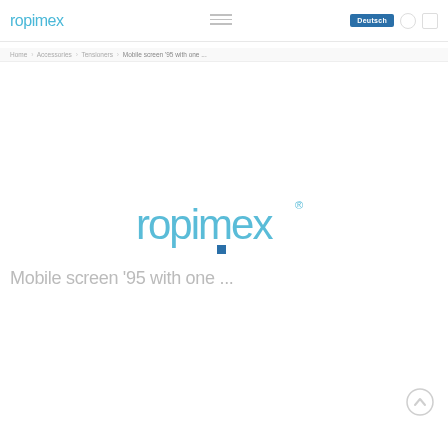ropimex
Home > Accessories > Tensioners > Mobile screen '95 with one ...
[Figure (logo): Ropimex logo centered on page — stylized lowercase text 'ropimex' with registered trademark symbol in light blue, with a small dark blue square below the letter i]
Mobile screen '95 with one ...